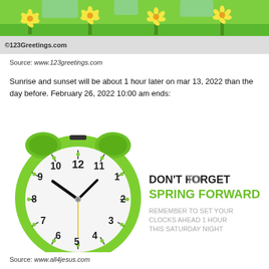[Figure (illustration): Top banner with yellow flowers on green background, with ©123Greetings.com watermark bar below]
Source: www.123greetings.com
Sunrise and sunset will be about 1 hour later on mar 13, 2022 than the day before. February 26, 2022 10:00 am ends:
[Figure (photo): Green alarm clock on left side with text on right reading DON'T FORGET TO SPRING FORWARD - REMEMBER TO SET YOUR CLOCKS AHEAD 1 HOUR THIS SATURDAY NIGHT]
Source: www.all4jesus.com